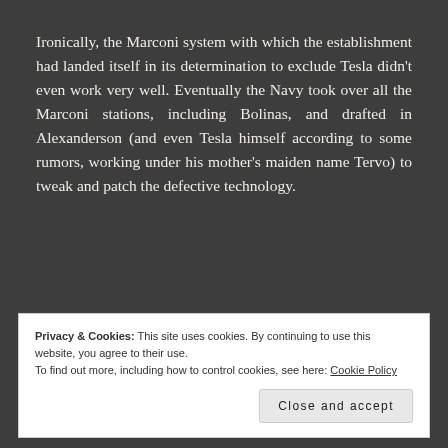Ironically, the Marconi system with which the establishment had landed itself in its determination to exclude Tesla didn't even work very well. Eventually the Navy took over all the Marconi stations, including Bolinas, and drafted in Alexanderson (and even Tesla himself according to some rumors, working under his mother's maiden name Tervo) to tweak and patch the defective technology.
Privacy & Cookies: This site uses cookies. By continuing to use this website, you agree to their use.
To find out more, including how to control cookies, see here: Cookie Policy
Close and accept